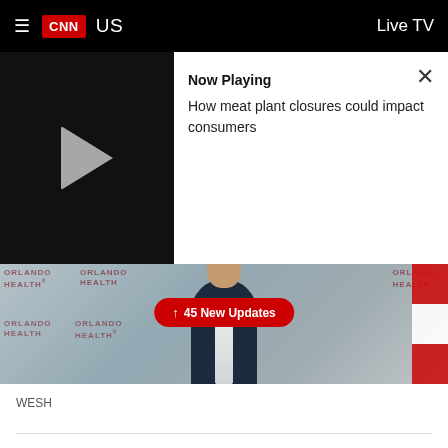CNN  US  Live TV
[Figure (screenshot): Mini video player showing play button on left and 'Now Playing' panel on right. Now Playing label followed by text: How meat plant closures could impact consumers. Close X button in top right.]
[Figure (photo): A man in a navy suit speaking at a press conference in front of Orlando Health branded backdrop. A red badge reads '45 New Updates' with upward arrow. A red-and-white striped flag is partially visible on the right.]
WESH